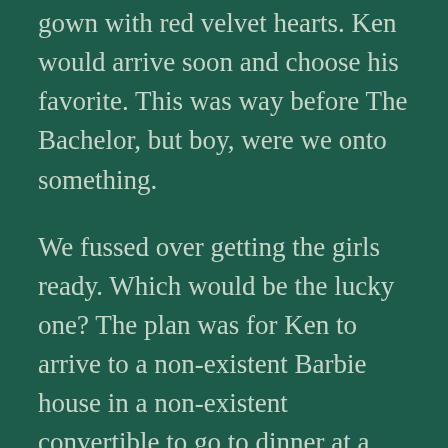gown with red velvet hearts. Ken would arrive soon and choose his favorite. This was way before The Bachelor, but boy, were we onto something.
We fussed over getting the girls ready. Which would be the lucky one? The plan was for Ken to arrive to a non-existent Barbie house in a non-existent convertible to go to dinner at a non-existent fancy restaurant. We decided Kissing Barbie would be the selected One since she already owned a stampable lipstick made just for her, complete with a puckering kissing sound at the press of a handy-dandy button